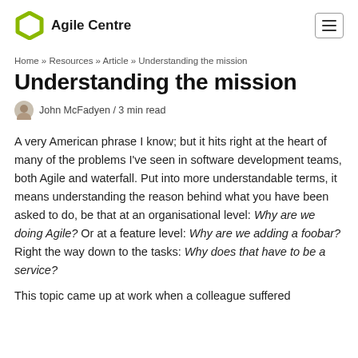Agile Centre
Home » Resources » Article » Understanding the mission
Understanding the mission
John McFadyen / 3 min read
A very American phrase I know; but it hits right at the heart of many of the problems I've seen in software development teams, both Agile and waterfall. Put into more understandable terms, it means understanding the reason behind what you have been asked to do, be that at an organisational level: Why are we doing Agile? Or at a feature level: Why are we adding a foobar? Right the way down to the tasks: Why does that have to be a service?
This topic came up at work when a colleague suffered